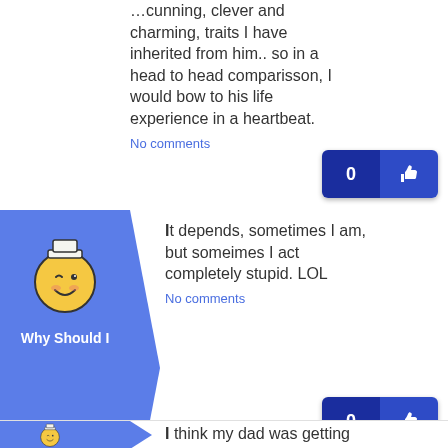cunning, clever and charming, traits I have inherited from him.. so in a head to head comparisson, I would bow to his life experience in a heartbeat.
No comments
It depends, sometimes I am, but someimes I act completely stupid. LOL
No comments
I think my dad was getting